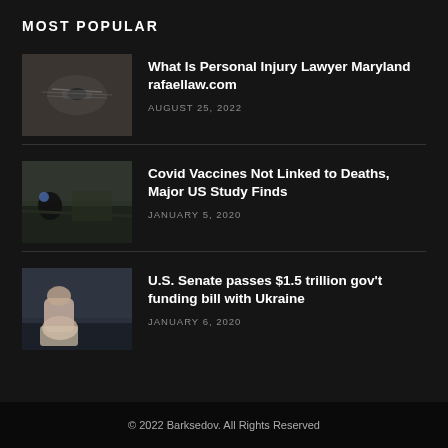MOST POPULAR
[Figure (photo): Thumbnail image of a dragonfly or insect on a dark blurry background]
What Is Personal Injury Lawyer Maryland rafaellaw.com
AUGUST 25, 2022
[Figure (photo): Thumbnail image of a dark outdoor scene with a person or animal near water]
Covid Vaccines Not Linked to Deaths, Major US Study Finds
JANUARY 5, 2020
[Figure (photo): Thumbnail image of a woman sitting near water from behind]
U.S. Senate passes $1.5 trillion gov't funding bill with Ukraine
JANUARY 6, 2020
© 2022 Barksedov. All Rights Reserved